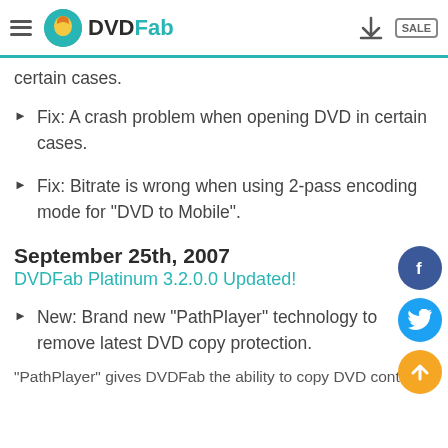DVDFab
certain cases.
Fix: A crash problem when opening DVD in certain cases.
Fix: Bitrate is wrong when using 2-pass encoding mode for "DVD to Mobile".
September 25th, 2007
DVDFab Platinum 3.2.0.0 Updated!
New: Brand new "PathPlayer" technology to remove latest DVD copy protection.
"PathPlayer" gives DVDFab the ability to copy DVD content